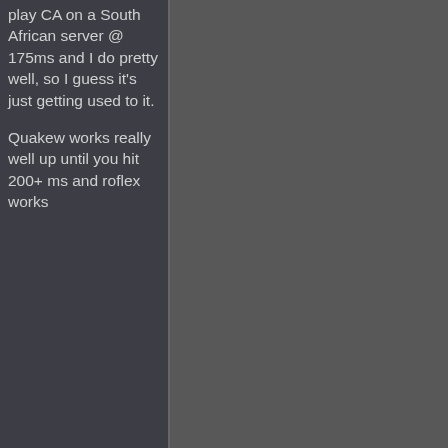play CA on a South African server @ 175ms and I do pretty well, so I guess it's just getting used to it.
Quakew works really well up until you hit 200+ ms and roflex works